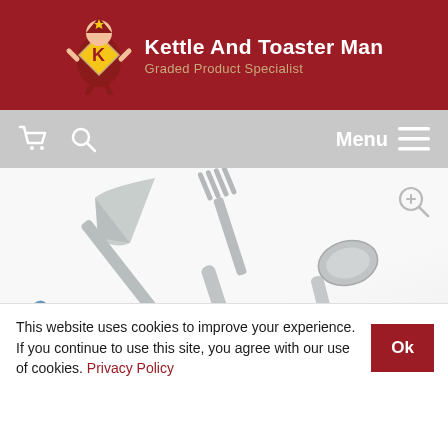Kettle And Toaster Man — Graded Product Specialist
[Figure (screenshot): Website navigation bar with shopping cart icon, search icon on left, and Menu with hamburger icon on right, on a grey background]
[Figure (photo): Cutlery set showing a knife, fork, and two spoons with blue handles and stainless steel ends, displayed on a white background. A zoom icon appears in the top-right corner.]
This website uses cookies to improve your experience. If you continue to use this site, you agree with our use of cookies. Privacy Policy